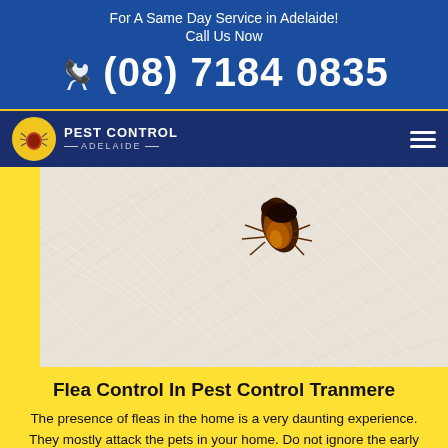For A Same Day Service in Adelaide!
Call Us Now
(08) 7184 0835
[Figure (logo): Pest Control Adelaide logo with yellow circular badge containing a spider/bug icon]
[Figure (photo): Close-up macro photograph of a flea on white pet fur/carpet fibers]
Flea Control In Pest Control Tranmere
The presence of fleas in the home is a very daunting experience. They mostly attack the pets in your home. Do not ignore the early signs of fleas and contact us immediately for permanent